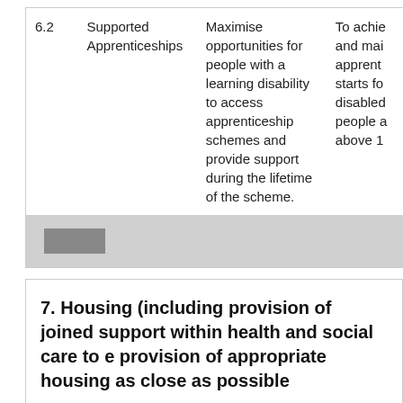|  |  |  |  |
| --- | --- | --- | --- |
| 6.2 | Supported Apprenticeships | Maximise opportunities for people with a learning disability to access apprenticeship schemes and provide support during the lifetime of the scheme. | To achie and mai apprent starts fo disabled people a above 1 |
7. Housing (including provision of joined support within health and social care to e provision of appropriate housing as close as possible